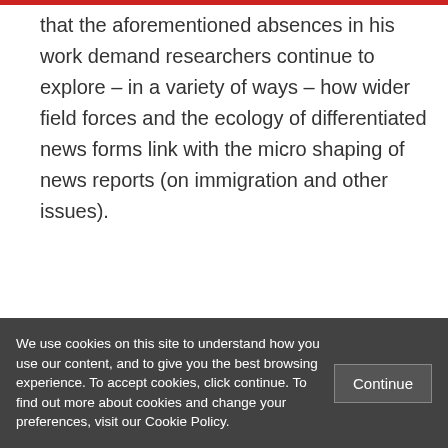that the aforementioned absences in his work demand researchers continue to explore – in a variety of ways – how wider field forces and the ecology of differentiated news forms link with the micro shaping of news reports (on immigration and other issues).
Julian Matthews is a Lecturer in the Department of Media and Communication at
We use cookies on this site to understand how you use our content, and to give you the best browsing experience. To accept cookies, click continue. To find out more about cookies and change your preferences, visit our Cookie Policy.